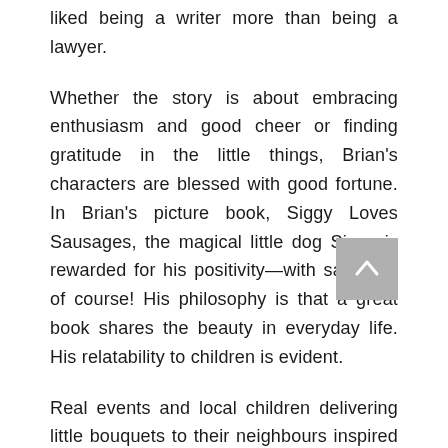liked being a writer more than being a lawyer.
Whether the story is about embracing enthusiasm and good cheer or finding gratitude in the little things, Brian's characters are blessed with good fortune. In Brian's picture book, Siggy Loves Sausages, the magical little dog Siggy is rewarded for his positivity—with sausage, of course! His philosophy is that a great book shares the beauty in everyday life. His relatability to children is evident.
Real events and local children delivering little bouquets to their neighbours inspired The Phabulous Phlower Phlower...